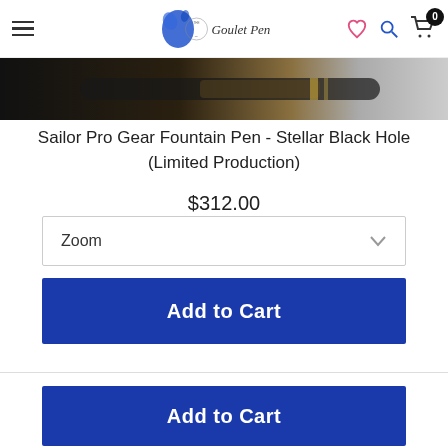The Goulet Pen Co. navigation bar with hamburger menu, logo, heart icon, search icon, cart (0)
[Figure (photo): Dark product image strip showing the Sailor Pro Gear fountain pen]
Sailor Pro Gear Fountain Pen - Stellar Black Hole (Limited Production)
$312.00
Zoom (dropdown selector)
Add to Cart
Add to Cart